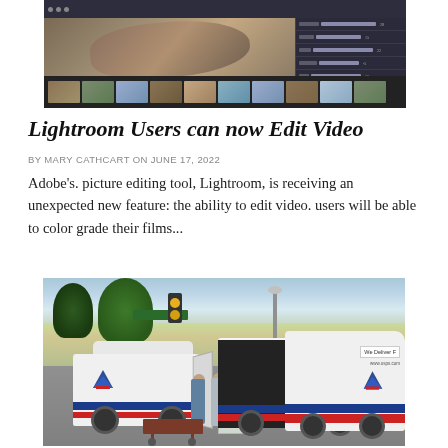[Figure (screenshot): Screenshot of Adobe Lightroom photo editing software showing a rock/stone image in the main editing area with thumbnail filmstrip at the bottom and adjustment panels on the right]
Lightroom Users can now Edit Video
BY MARY CATHCART ON JUNE 17, 2022
Adobe's. picture editing tool, Lightroom, is receiving an unexpected new feature: the ability to edit video. users will be able to color grade their films...
[Figure (photo): Street scene with USPS mail delivery vans parked, postal workers loading/unloading packages with hand cart, urban setting with trees and traffic lights in background]